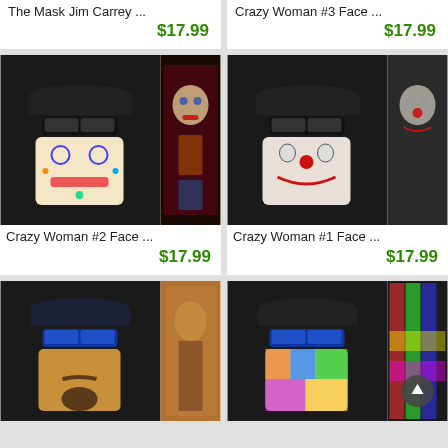The Mask Jim Carrey ...
$17.99
Crazy Woman #3 Face ...
$17.9...
[Figure (photo): Person wearing Crazy Woman #2 face mask/gaiter, colorful sugar skull design, with flat brim cap and sunglasses. Next to flat product photo of same mask.]
Crazy Woman #2 Face ...
$17.99
[Figure (photo): Person wearing Crazy Woman #1 face mask/gaiter, clown/joker design, with flat brim cap and sunglasses. Next to flat product photo of same mask.]
Crazy Woman #1 Face ...
$17.9...
[Figure (photo): Person wearing Jack Sparrow / pirate face mask with cap and blue reflective sunglasses. Next to flat product photo.]
[Figure (photo): Person wearing colorful graffiti/cartoon face mask with cap and blue reflective sunglasses. Next to flat product photo.]